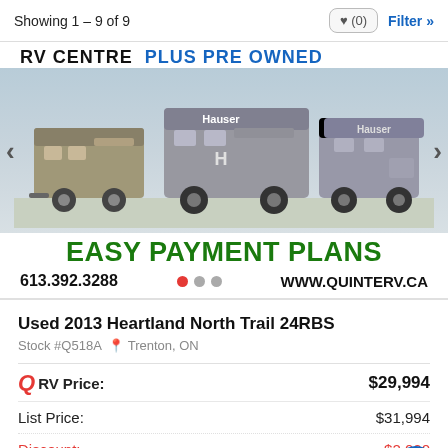Showing 1 – 9 of 9
[Figure (photo): Advertisement banner for Quinte RV Centre showing multiple RVs and trailers, with text 'RV CENTRE PLUS PRE OWNED', 'EASY PAYMENT PLANS', phone number 613.392.3288, website www.quinterv.ca, and carousel dot indicators.]
Used 2013 Heartland North Trail 24RBS
Stock #Q518A  Trenton, ON
| Label | Value |
| --- | --- |
| QRV Price: | $29,994 |
| List Price: | $31,994 |
| Discount: | $2,000 |